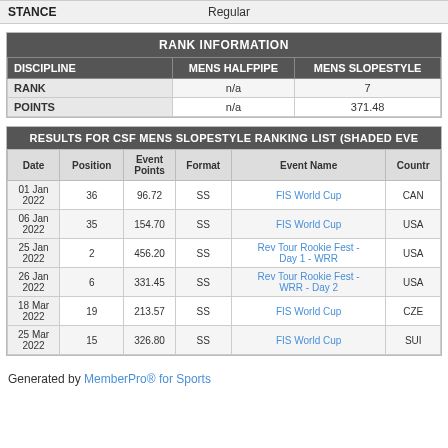| STANCE | Regular |
| --- | --- |
| RANK INFORMATION |
| --- |
| DISCIPLINE | MENS HALFPIPE | MENS SLOPESTYLE |
| RANK | n/a | 7 |
| POINTS | n/a | 371.48 |
| RESULTS FOR CSF MENS SLOPESTYLE RANKING LIST (SHADED EVE... |
| --- |
| Date | Position | Event Points | Format | Event Name | Country |
| 01 Jan 2022 | 36 | 96.72 | SS | FIS World Cup | CAN |
| 06 Jan 2022 | 35 | 154.70 | SS | FIS World Cup | USA |
| 25 Jan 2022 | 2 | 456.20 | SS | Rev Tour Rookie Fest - Day 1 - WRR | USA |
| 26 Jan 2022 | 6 | 331.45 | SS | Rev Tour Rookie Fest - WRR - Day 2 | USA |
| 18 Mar 2022 | 19 | 213.57 | SS | FIS World Cup | CZE |
| 25 Mar 2022 | 15 | 326.80 | SS | FIS World Cup | SUI |
Generated by MemberPro® for Sports